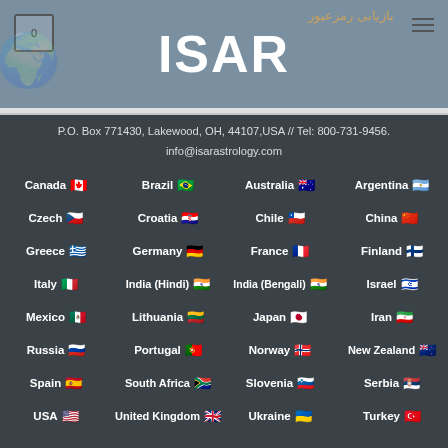ISAR
P.O. Box 771430, Lakewood, OH, 44107,USA // Tel: 800-731-9456.
info@isarastrology.com
Canada, Brazil, Australia, Argentina, Czech, Croatia, Chile, China, Greece, Germany, France, Finland, Italy, India (Hindi), India (Bengali), Israel, Mexico, Lithuania, Japan, Iran, Russia, Portugal, Norway, New Zealand, Spain, South Africa, Slovenia, Serbia, USA, United Kingdom, Ukraine, Turkey